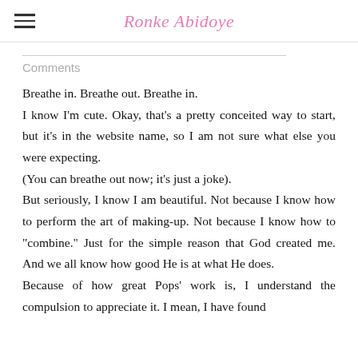Ronke Abidoye
Comments
Breathe in. Breathe out. Breathe in.
I know I'm cute. Okay, that's a pretty conceited way to start, but it's in the website name, so I am not sure what else you were expecting.
(You can breathe out now; it's just a joke).
But seriously, I know I am beautiful. Not because I know how to perform the art of making-up. Not because I know how to "combine." Just for the simple reason that God created me. And we all know how good He is at what He does.
Because of how great Pops' work is, I understand the compulsion to appreciate it. I mean, I have found